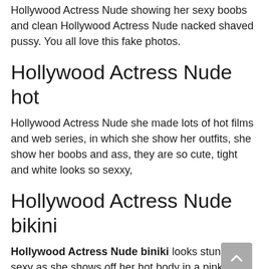Hollywood Actress Nude showing her sexy boobs and clean Hollywood Actress Nude nacked shaved pussy. You all love this fake photos.
Hollywood Actress Nude hot
Hollywood Actress Nude she made lots of hot films and web series, in which she show her outfits, she show her boobs and ass, they are so cute, tight and white looks so sexxy,
Hollywood Actress Nude bikini
Hollywood Actress Nude biniki looks stunningly sexy as she shows off her hot body in a pink bikini while on a beach